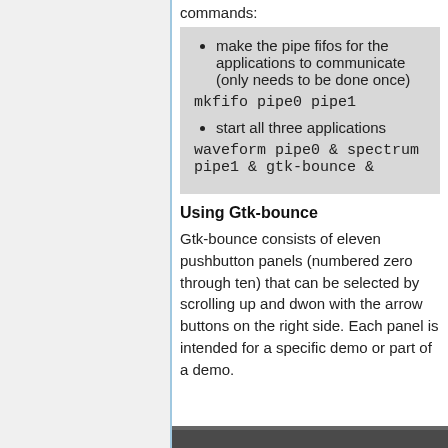commands:
make the pipe fifos for the applications to communicate (only needs to be done once)
mkfifo pipe0 pipe1
start all three applications
waveform pipe0 & spectrum pipe1 & gtk-bounce &
Using Gtk-bounce
Gtk-bounce consists of eleven pushbutton panels (numbered zero through ten) that can be selected by scrolling up and dwon with the arrow buttons on the right side. Each panel is intended for a specific demo or part of a demo.
[Figure (screenshot): Bottom edge of a screenshot showing a dark application window]